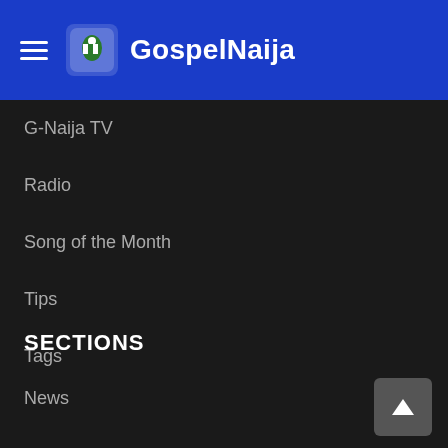GospelNaija
G-Naija TV
Radio
Song of the Month
Tips
Tags
#GNTSC2020
SECTIONS
News
Family